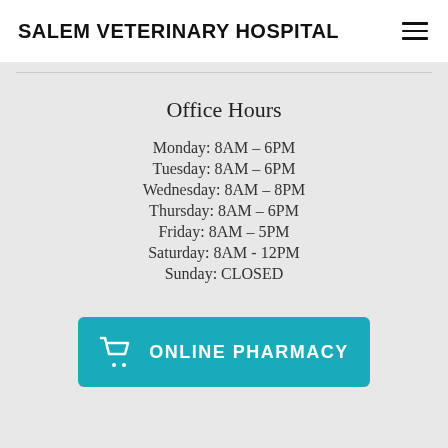SALEM VETERINARY HOSPITAL
Office Hours
Monday:  8AM – 6PM
Tuesday:  8AM – 6PM
Wednesday:  8AM – 8PM
Thursday:  8AM – 6PM
Friday:  8AM – 5PM
Saturday:  8AM - 12PM
Sunday:  CLOSED
ONLINE PHARMACY